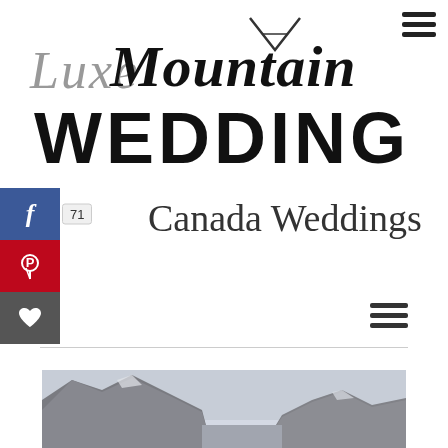[Figure (logo): Luxe Mountain Weddings logo — script 'Luxe' in grey italic, 'Mountain' in bold black with mountain peak icon, 'WEDDINGS' in large bold serif black]
[Figure (other): Hamburger menu icon (three horizontal bars) top right]
[Figure (other): Social media sidebar: Facebook (blue, count 71), Pinterest (red), Heart/favorite (dark grey)]
Canada Weddings
[Figure (other): Hamburger menu icon (three horizontal bars) right side]
[Figure (photo): Mountain landscape photo showing rocky mountain peaks with snow and overcast sky, valley between mountains]